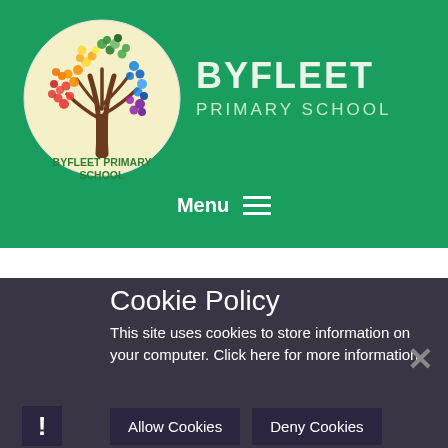[Figure (logo): Byfleet Primary School circular logo with a colorful tree made of multi-colored leaves on a cream background, with text 'BYFLEET PRIMARY SCHOOL' below the tree inside the circle]
BYFLEET PRIMARY SCHOOL
Menu
Cookie Policy
This site uses cookies to store information on your computer. Click here for more information
Allow Cookies
Deny Cookies